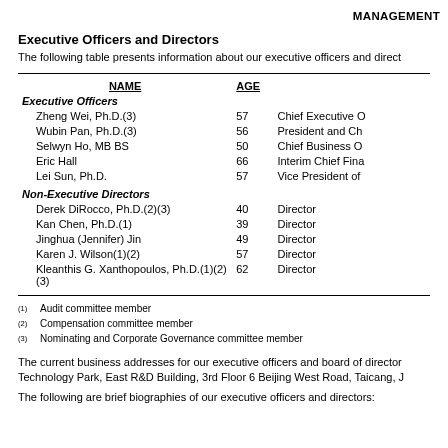MANAGEMENT
Executive Officers and Directors
The following table presents information about our executive officers and direct
| NAME | AGE |  |
| --- | --- | --- |
| Executive Officers |  |  |
| Zheng Wei, Ph.D.(3) | 57 | Chief Executive O |
| Wubin Pan, Ph.D.(3) | 56 | President and Ch |
| Selwyn Ho, MB BS | 50 | Chief Business O |
| Eric Hall | 66 | Interim Chief Fina |
| Lei Sun, Ph.D. | 57 | Vice President of |
| Non-Executive Directors |  |  |
| Derek DiRocco, Ph.D.(2)(3) | 40 | Director |
| Kan Chen, Ph.D.(1) | 39 | Director |
| Jinghua (Jennifer) Jin | 49 | Director |
| Karen J. Wilson(1)(2) | 57 | Director |
| Kleanthis G. Xanthopoulos, Ph.D.(1)(2)(3) | 62 | Director |
(1) Audit committee member
(2) Compensation committee member
(3) Nominating and Corporate Governance committee member
The current business addresses for our executive officers and board of directors are: Zai Lab (Shanghai) Limited, Building 3, 4555 Jinke Road, Zhangjiang Hi-Tech Park, East R&D Building, 3rd Floor 6 Beijing West Road, Taicang, J
The following are brief biographies of our executive officers and directors: